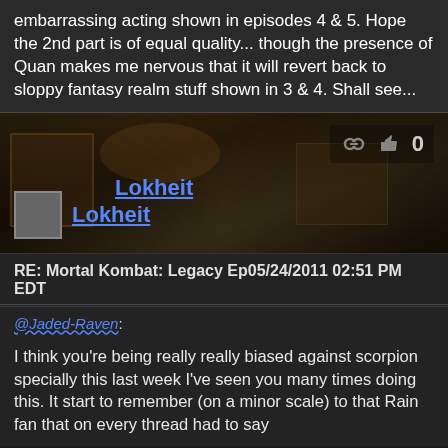embarrassing acting shown in episodes 4 & 5. Hope the 2nd part is of equal quality... though the presence of Quan makes me nervous that it will revert back to sloppy fantasy realm stuff shown in 3 & 4. Shall see...
[Figure (screenshot): Dark video game or movie scene background with banner showing username Lokheit and avatar, with link icon and like count of 0]
RE: Mortal Kombat: Legacy Ep 05/24/2011 02:51 PM EDT
@Jaded-Raven:
I think you're being really really biased against scorpion specially this last week I've seen you many times doing this. It start to remember (on a minor scale) to that Rain fan that on every thread had to say